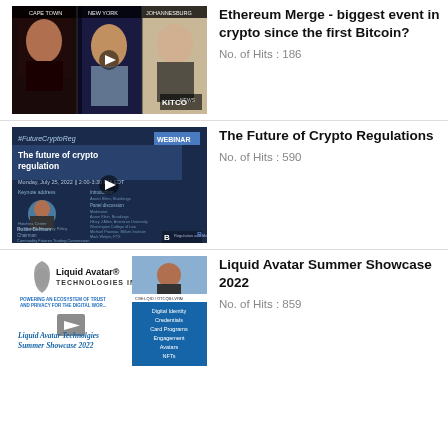[Figure (screenshot): Kitco News video thumbnail showing three panelists from Cape Town, New York, and Johannesburg discussing the Ethereum Merge]
Ethereum Merge - biggest event in crypto since the first Bitcoin?
No. of Hits : 186
[Figure (screenshot): Webinar thumbnail: The future of crypto regulation, Monday July 25 2022, 2:00-3:30 PM EDT, featuring Keynote address by Rostin Behnam, Chairman CFTC]
The Future of Crypto Regulations
No. of Hits : 590
[Figure (screenshot): Liquid Avatar Technologies Inc. Summer Showcase 2022 thumbnail showing company logo and list of topics including Digital Identity, Credentials, Card Programs, Engagement, Avatars, NFTs]
Liquid Avatar Summer Showcase 2022
No. of Hits : 859